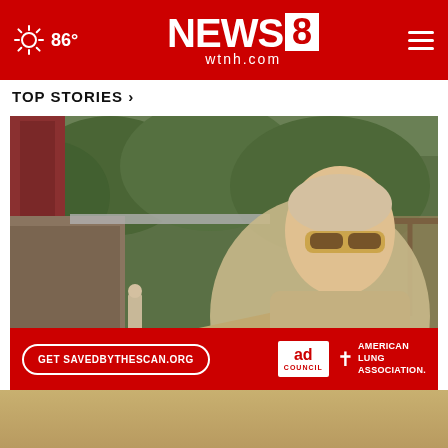86° NEWS8 wtnh.com
TOP STORIES ›
[Figure (photo): Paul Newman pointing outdoors near a wooden building with trees in background]
Paul Newman's daughters su × 'ate act...
[Figure (other): Ad banner: Get SAVEDBYTHESCAN.ORG — Ad Council — American Lung Association]